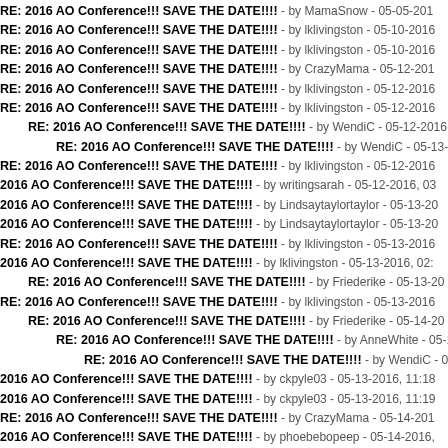RE: 2016 AO Conference!!! SAVE THE DATE!!!! - by MamaSnow - 05-05-201
RE: 2016 AO Conference!!! SAVE THE DATE!!!! - by lklivingston - 05-10-2016
RE: 2016 AO Conference!!! SAVE THE DATE!!!! - by lklivingston - 05-10-2016
RE: 2016 AO Conference!!! SAVE THE DATE!!!! - by CrazyMama - 05-12-201
RE: 2016 AO Conference!!! SAVE THE DATE!!!! - by lklivingston - 05-12-2016
RE: 2016 AO Conference!!! SAVE THE DATE!!!! - by lklivingston - 05-12-2016
RE: 2016 AO Conference!!! SAVE THE DATE!!!! - by WendiC - 05-12-2016
RE: 2016 AO Conference!!! SAVE THE DATE!!!! - by WendiC - 05-13-20
RE: 2016 AO Conference!!! SAVE THE DATE!!!! - by lklivingston - 05-12-2016
2016 AO Conference!!! SAVE THE DATE!!!! - by writingsarah - 05-12-2016, 03
2016 AO Conference!!! SAVE THE DATE!!!! - by Lindsaytaylortaylor - 05-13-20
2016 AO Conference!!! SAVE THE DATE!!!! - by Lindsaytaylortaylor - 05-13-20
RE: 2016 AO Conference!!! SAVE THE DATE!!!! - by lklivingston - 05-13-2016
2016 AO Conference!!! SAVE THE DATE!!!! - by lklivingston - 05-13-2016, 02:
RE: 2016 AO Conference!!! SAVE THE DATE!!!! - by Friederike - 05-13-20
RE: 2016 AO Conference!!! SAVE THE DATE!!!! - by lklivingston - 05-13-2016
RE: 2016 AO Conference!!! SAVE THE DATE!!!! - by Friederike - 05-14-20
RE: 2016 AO Conference!!! SAVE THE DATE!!!! - by AnneWhite - 05-14
RE: 2016 AO Conference!!! SAVE THE DATE!!!! - by WendiC - 05-14
2016 AO Conference!!! SAVE THE DATE!!!! - by ckpyle03 - 05-13-2016, 11:18
2016 AO Conference!!! SAVE THE DATE!!!! - by ckpyle03 - 05-13-2016, 11:19
RE: 2016 AO Conference!!! SAVE THE DATE!!!! - by CrazyMama - 05-14-201
2016 AO Conference!!! SAVE THE DATE!!!! - by phoebebopeep - 05-14-2016,
RE: 2016 AO Conference!!! SAVE THE DATE!!!! - by lklivingston - 05-14-2016
RE: 2016 AO Conference!!! SAVE THE DATE!!!! - by justNermari - 05-15-201